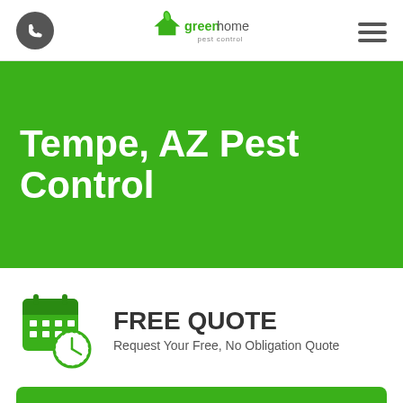[Figure (logo): Green Home Pest Control logo with phone icon and hamburger menu in header]
Tempe, AZ Pest Control
[Figure (infographic): Calendar/clock icon representing Free Quote section]
FREE QUOTE
Request Your Free, No Obligation Quote
GET STARTED